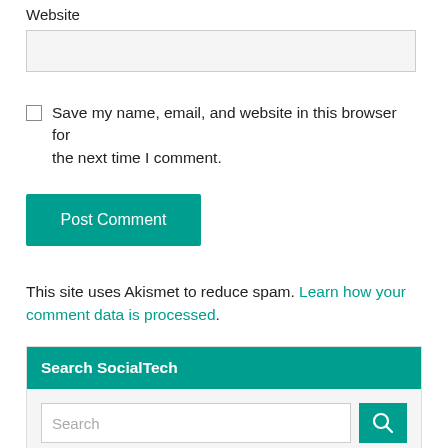Website
Save my name, email, and website in this browser for the next time I comment.
Post Comment
This site uses Akismet to reduce spam. Learn how your comment data is processed.
Search SocialTech
Search